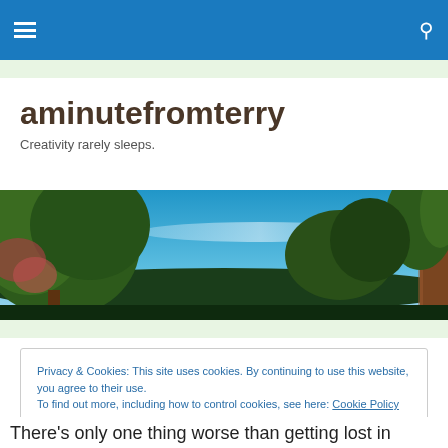aminutefromterry — navigation bar with hamburger menu and search icon
aminutefromterry
Creativity rarely sleeps.
[Figure (photo): Landscape photo of trees with green foliage framing a blue sky, viewed from below, with a dark treeline in the background.]
Privacy & Cookies: This site uses cookies. By continuing to use this website, you agree to their use.
To find out more, including how to control cookies, see here: Cookie Policy
[Close and accept button]
There's only one thing worse than getting lost in